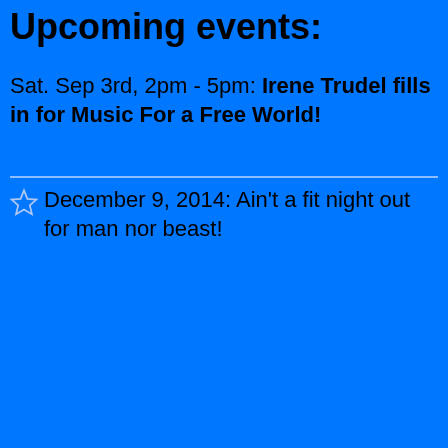Upcoming events:
Sat. Sep 3rd, 2pm - 5pm: Irene Trudel fills in for Music For a Free World!
December 9, 2014: Ain't a fit night out for man nor beast!